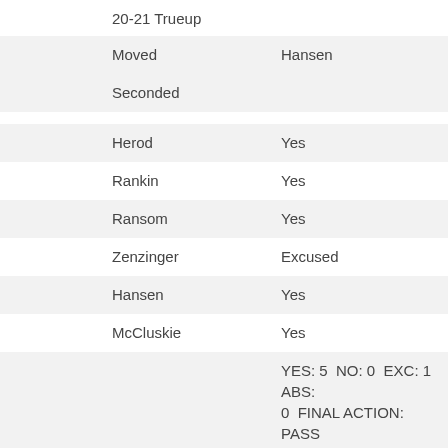20-21 Trueup
| Moved | Hansen |
| Seconded |  |
| Herod | Yes |
| Rankin | Yes |
| Ransom | Yes |
| Zenzinger | Excused |
| Hansen | Yes |
| McCluskie | Yes |
|  | YES: 5  NO: 0  EXC: 1  ABS: 0  FINAL ACTION: PASS |